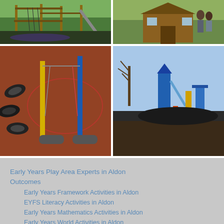[Figure (photo): Wooden climbing frame and slide on green grass playground]
[Figure (photo): Wooden playhouse with adults standing beside it on green grass]
[Figure (photo): Rubber safety surface playground with swing poles and tyre obstacles]
[Figure (photo): Large outdoor playground equipment installation with blue play structures]
Early Years Play Area Experts in Aldon
Outcomes
Early Years Framework Activities in Aldon
EYFS Literacy Activities in Aldon
Early Years Mathematics Activities in Aldon
Early Years World Activities in Aldon
Early Years Communication Activities in Aldon